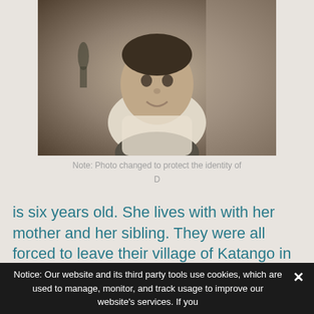[Figure (photo): Black and white photo of a young child smiling at the camera, holding a younger child/baby. A person is visible in the background on a street. The photo is sepia/black and white toned.]
Note: Photo changed to protect the identity of D
is six years old. She lives with with her mother and her sibling. They were all forced to leave their village of Katango in search of safety after D's father was killed by an
Notice: Our website and its third party tools use cookies, which are used to manage, monitor, and track usage to improve our website's services. If you